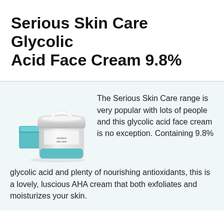Serious Skin Care Glycolic Acid Face Cream 9.8%
[Figure (photo): Photo of Serious Skin Care Glycolic Acid Face Cream product — an open white cream jar with a turquoise/teal base and a smaller teal sample jar beside it, on a light background.]
The Serious Skin Care range is very popular with lots of people and this glycolic acid face cream is no exception. Containing 9.8% glycolic acid and plenty of nourishing antioxidants, this is a lovely, luscious AHA cream that both exfoliates and moisturizes your skin.